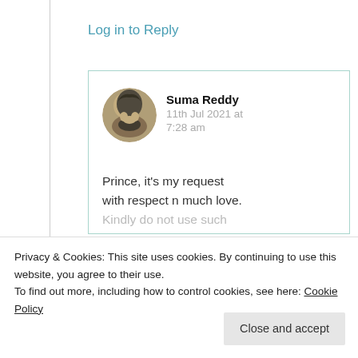Log in to Reply
[Figure (photo): Circular profile photo of a woman, Suma Reddy, with dark hair against an outdoor background]
Suma Reddy
11th Jul 2021 at 7:28 am
Prince, it’s my request with respect n much love. Kindly do not use such
Privacy & Cookies: This site uses cookies. By continuing to use this website, you agree to their use.
To find out more, including how to control cookies, see here: Cookie Policy
Close and accept